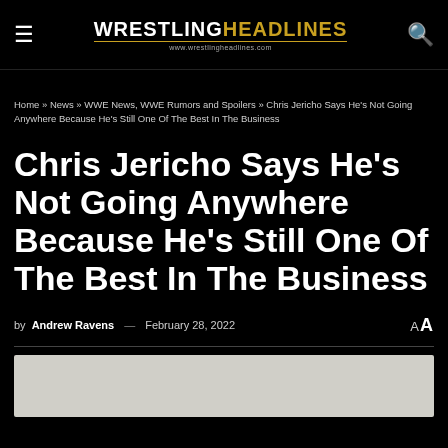Wrestling Headlines — www.wrestlingheadlines.com
Home » News » WWE News, WWE Rumors and Spoilers » Chris Jericho Says He's Not Going Anywhere Because He's Still One Of The Best In The Business
Chris Jericho Says He's Not Going Anywhere Because He's Still One Of The Best In The Business
by Andrew Ravens — February 28, 2022